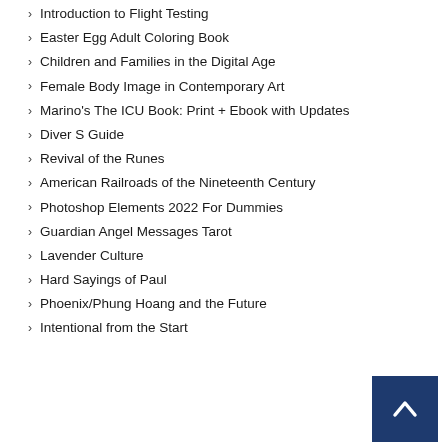Introduction to Flight Testing
Easter Egg Adult Coloring Book
Children and Families in the Digital Age
Female Body Image in Contemporary Art
Marino's The ICU Book: Print + Ebook with Updates
Diver S Guide
Revival of the Runes
American Railroads of the Nineteenth Century
Photoshop Elements 2022 For Dummies
Guardian Angel Messages Tarot
Lavender Culture
Hard Sayings of Paul
Phoenix/Phung Hoang and the Future
Intentional from the Start